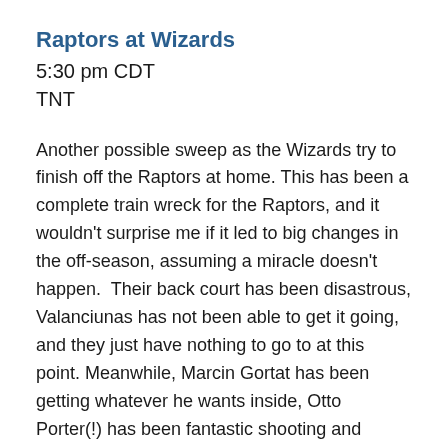Raptors at Wizards
5:30 pm CDT
TNT
Another possible sweep as the Wizards try to finish off the Raptors at home. This has been a complete train wreck for the Raptors, and it wouldn't surprise me if it led to big changes in the off-season, assuming a miracle doesn't happen.  Their back court has been disastrous, Valanciunas has not been able to get it going, and they just have nothing to go to at this point. Meanwhile, Marcin Gortat has been getting whatever he wants inside, Otto Porter(!) has been fantastic shooting and rebounding, and Paul Pierce has found the rejuvenation machine. Hard to see them getting past the 2nd round, but it might be enough to save